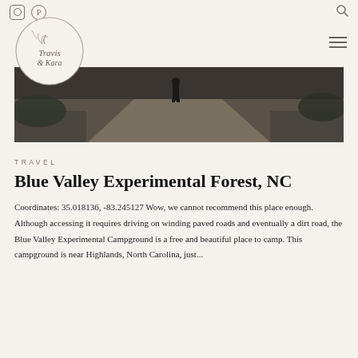Travis & Kara blog header with Instagram, Pinterest, and Search icons
[Figure (photo): Outdoor forest dirt road/path viewed from low angle, gravel and foliage on sides, muted grey-brown tones]
TRAVEL
Blue Valley Experimental Forest, NC
Coordinates: 35.018136, -83.245127 Wow, we cannot recommend this place enough. Although accessing it requires driving on winding paved roads and eventually a dirt road, the Blue Valley Experimental Campground is a free and beautiful place to camp. This campground is near Highlands, North Carolina, just...